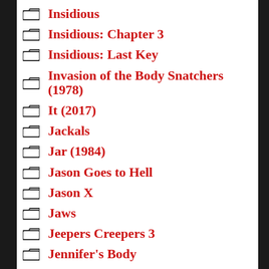Insidious
Insidious: Chapter 3
Insidious: Last Key
Invasion of the Body Snatchers (1978)
It (2017)
Jackals
Jar (1984)
Jason Goes to Hell
Jason X
Jaws
Jeepers Creepers 3
Jennifer's Body
Jessabelle
Jigsaw
John Carpenter's The Ward
Ju-on: White Ghost/Black Ghost